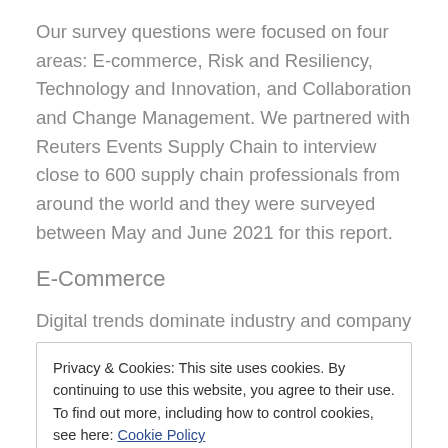Our survey questions were focused on four areas: E-commerce, Risk and Resiliency, Technology and Innovation, and Collaboration and Change Management. We partnered with Reuters Events Supply Chain to interview close to 600 supply chain professionals from around the world and they were surveyed between May and June 2021 for this report.
E-Commerce
Digital trends dominate industry and company
Privacy & Cookies: This site uses cookies. By continuing to use this website, you agree to their use.
To find out more, including how to control cookies, see here: Cookie Policy
[Close and accept]
materials, transportation capacity, and visibility needed